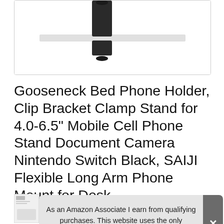[Figure (photo): Product photo of a gooseneck phone holder clamp mount on a white background, showing a black clamp mechanism attached to what appears to be a flat surface/desk edge]
Gooseneck Bed Phone Holder, Clip Bracket Clamp Stand for 4.0-6.5" Mobile Cell Phone Stand Document Camera Nintendo Switch Black, SAIJI Flexible Long Arm Phone Mount for Desk
As an Amazon Associate I earn from qualifying purchases. This website uses the only necessary cookies to ensure you get the best experience on our website. More information
#ad
[Figure (photo): Thumbnail strip showing multiple product images at the bottom of the page]